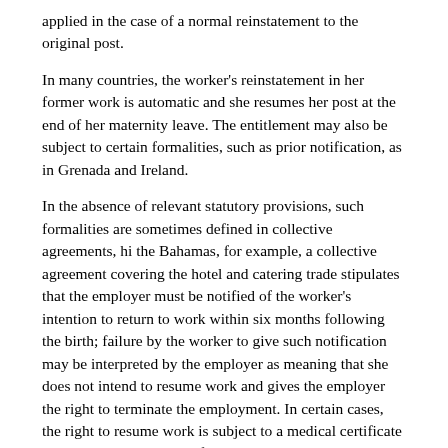applied in the case of a normal reinstatement to the original post.
In many countries, the worker's reinstatement in her former work is automatic and she resumes her post at the end of her maternity leave. The entitlement may also be subject to certain formalities, such as prior notification, as in Grenada and Ireland.
In the absence of relevant statutory provisions, such formalities are sometimes defined in collective agreements, hi the Bahamas, for example, a collective agreement covering the hotel and catering trade stipulates that the employer must be notified of the worker's intention to return to work within six months following the birth; failure by the worker to give such notification may be interpreted by the employer as meaning that she does not intend to resume work and gives the employer the right to terminate the employment. In certain cases, the right to resume work is subject to a medical certificate stating that the worker is fit to do so. A return to work following a longer period of